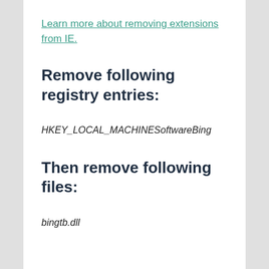Learn more about removing extensions from IE.
Remove following registry entries:
HKEY_LOCAL_MACHINESoftwareBing
Then remove following files:
bingtb.dll